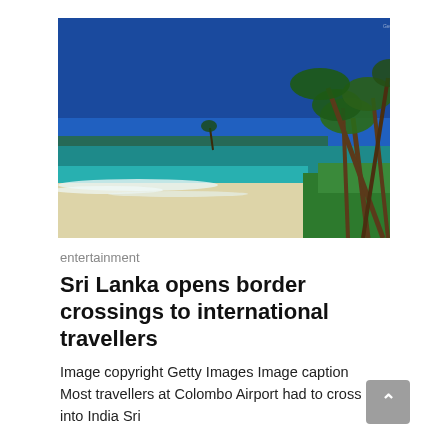[Figure (photo): Tropical beach scene in Sri Lanka with turquoise ocean waves, white sand beach, and tall palm trees against a deep blue sky.]
entertainment
Sri Lanka opens border crossings to international travellers
Image copyright Getty Images Image caption Most travellers at Colombo Airport had to cross into India Sri